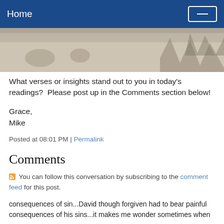Home
[Figure (photo): A muted winter landscape painting or photograph with snow and muted tones, animals visible at right edge]
What verses or insights stand out to you in today's readings?  Please post up in the Comments section below!
Grace,
Mike
Posted at 08:01 PM | Permalink
Comments
You can follow this conversation by subscribing to the comment feed for this post.
consequences of sin...David though forgiven had to bear painful consequences of his sins...it makes me wonder sometimes when